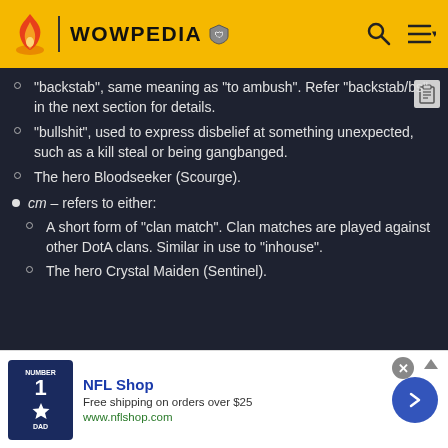WOWPEDIA
"backstab", same meaning as "to ambush". Refer "backstab/bs" in the next section for details.
"bullshit", used to express disbelief at something unexpected, such as a kill steal or being gangbanged.
The hero Bloodseeker (Scourge).
cm - refers to either:
A short form of "clan match". Clan matches are played against other DotA clans. Similar in use to "inhouse".
The hero Crystal Maiden (Sentinel).
[Figure (infographic): NFL Shop advertisement banner with jersey image, NFL Shop title, free shipping offer, website URL www.nflshop.com, and a blue circular arrow button]